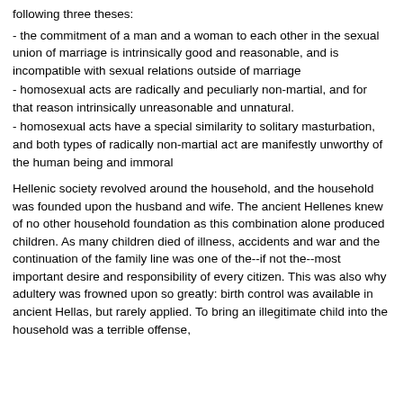following three theses:
- the commitment of a man and a woman to each other in the sexual union of marriage is intrinsically good and reasonable, and is incompatible with sexual relations outside of marriage
- homosexual acts are radically and peculiarly non-martial, and for that reason intrinsically unreasonable and unnatural.
- homosexual acts have a special similarity to solitary masturbation, and both types of radically non-martial act are manifestly unworthy of the human being and immoral
Hellenic society revolved around the household, and the household was founded upon the husband and wife. The ancient Hellenes knew of no other household foundation as this combination alone produced children. As many children died of illness, accidents and war and the continuation of the family line was one of the--if not the--most important desire and responsibility of every citizen. This was also why adultery was frowned upon so greatly: birth control was available in ancient Hellas, but rarely applied. To bring an illegitimate child into the household was a terrible offense, and one for which the ancients held that outside...